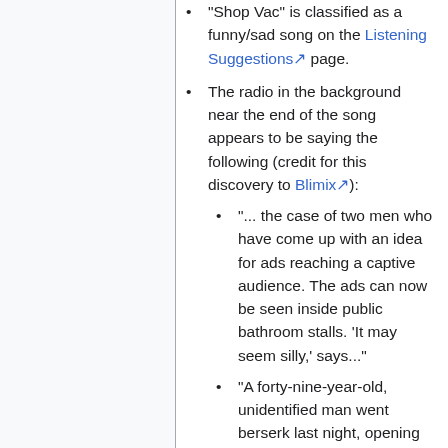"Shop Vac" is classified as a funny/sad song on the Listening Suggestions page.
The radio in the background near the end of the song appears to be saying the following (credit for this discovery to Blimix):
"... the case of two men who have come up with an idea for ads reaching a captive audience. The ads can now be seen inside public bathroom stalls. 'It may seem silly,' says..."
"A forty-nine-year-old, unidentified man went berserk last night, opening fire with a twelve-gauge shotgun in a crowded, downtown..."
JoCo's comments in his blog about these lines: "The newscast is a